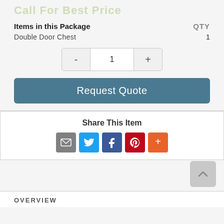Call For Best Price
| Items in this Package | QTY |
| --- | --- |
| Double Door Chest | 1 |
- 1 +
Request Quote
Share This Item
[Figure (infographic): Social share icons: email (gray), Twitter (blue), Facebook (blue), Pinterest (red), More (orange)]
OVERVIEW